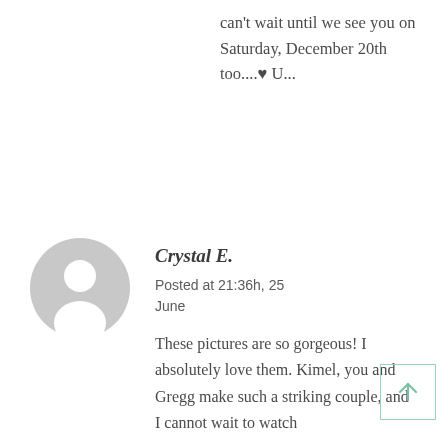can't wait until we see you on Saturday, December 20th too....♥ U...
[Figure (illustration): Generic user avatar: grey circle with white silhouette of a person (head and shoulders)]
Crystal E.
Posted at 21:36h, 25 June
These pictures are so gorgeous! I absolutely love them. Kimel, you and Gregg make such a striking couple, and I cannot wait to watch